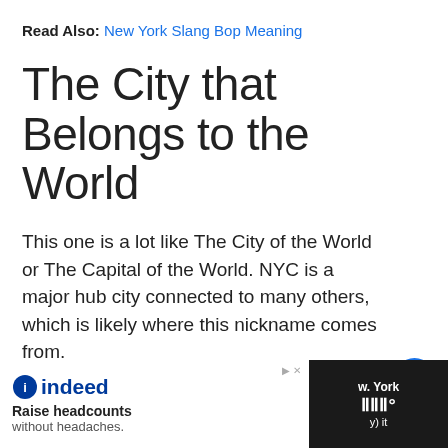Read Also: New York Slang Bop Meaning
The City that Belongs to the World
This one is a lot like The City of the World or The Capital of the World. NYC is a major hub city connected to many others, which is likely where this nickname comes from.
The City that Never Sleeps
[Figure (screenshot): Indeed advertisement banner: 'Raise headcounts without headaches.' with Indeed logo, and a dark right side bar with New York content visible.]